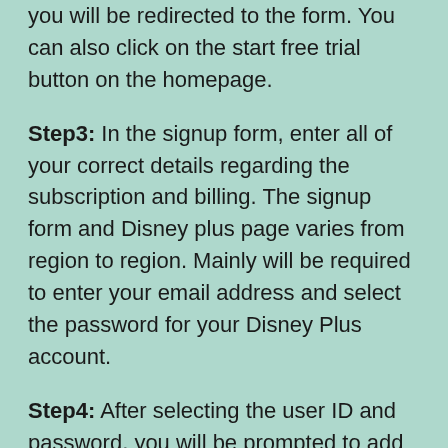you will be redirected to the form. You can also click on the start free trial button on the homepage.
Step3: In the signup form, enter all of your correct details regarding the subscription and billing. The signup form and Disney plus page varies from region to region. Mainly will be required to enter your email address and select the password for your Disney Plus account.
Step4: After selecting the user ID and password, you will be prompted to add your credit card or PayPal details to confirm the 7-Day free trial of the subscription. You can choose to cancel this at any given point within